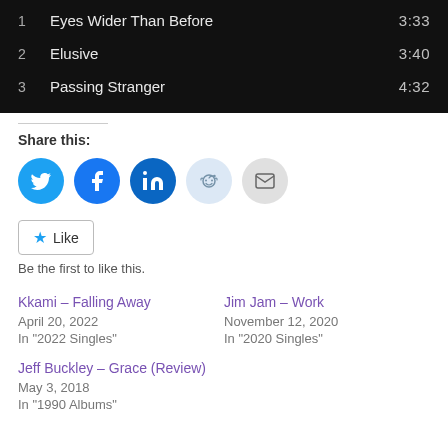| # | Title | Duration |
| --- | --- | --- |
| 1 | Eyes Wider Than Before | 3:33 |
| 2 | Elusive | 3:40 |
| 3 | Passing Stranger | 4:32 |
Share this:
[Figure (infographic): Social share icons: Twitter, Facebook, LinkedIn, Reddit, Email]
Like
Be the first to like this.
Kkami – Falling Away
April 20, 2022
In "2022 Singles"
Jim Jam – Work
November 12, 2020
In "2020 Singles"
Jeff Buckley – Grace (Review)
May 3, 2018
In "1990 Albums"